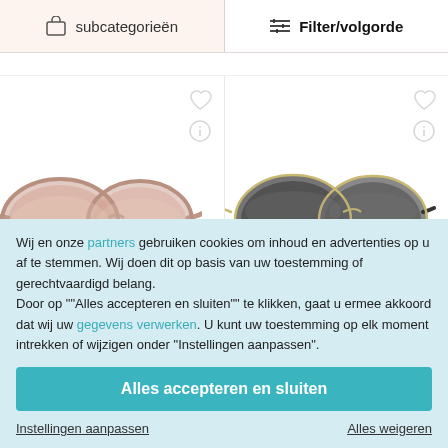subcategorieën
Filter/volgorde
[Figure (photo): Left product cell showing a pair of large pink/mauve oversized sunglasses with gradient brown lenses]
[Figure (photo): Right product cell showing a pair of large dark grey oversized sunglasses with gold metal frames and black tips]
Wij en onze partners gebruiken cookies om inhoud en advertenties op u af te stemmen. Wij doen dit op basis van uw toestemming of gerechtvaardigd belang.
Door op ""Alles accepteren en sluiten"" te klikken, gaat u ermee akkoord dat wij uw gegevens verwerken. U kunt uw toestemming op elk moment intrekken of wijzigen onder "Instellingen aanpassen".
Alles accepteren en sluiten
Instellingen aanpassen
Alles weigeren